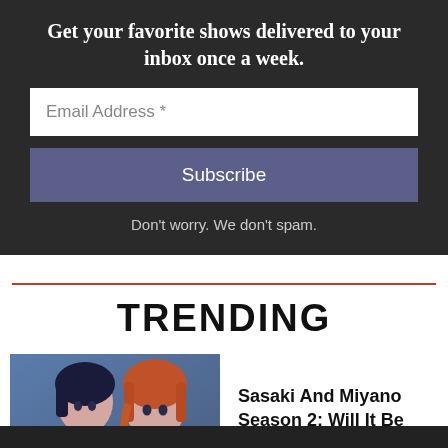Get your favorite shows delivered to your inbox once a week.
Email Address *
Subscribe
Don't worry. We don't spam.
TRENDING
[Figure (illustration): Anime characters - two figures, one with dark blue hair and one with red/orange hair, promotional art for Sasaki And Miyano]
Sasaki And Miyano Season 2: Will It Be Renewed?